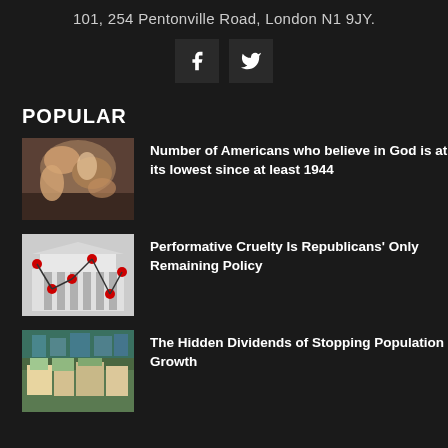101, 254 Pentonville Road, London N1 9JY.
[Figure (other): Facebook and Twitter social media icon buttons]
POPULAR
[Figure (photo): Sistine Chapel ceiling painting showing the creation of Adam]
Number of Americans who believe in God is at its lowest since at least 1944
[Figure (other): Illustration of a classical building with red dots and lines forming a graph]
Performative Cruelty Is Republicans' Only Remaining Policy
[Figure (photo): Aerial view of densely packed urban housing]
The Hidden Dividends of Stopping Population Growth